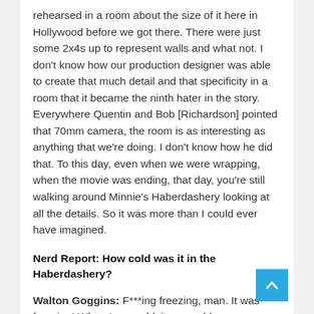rehearsed in a room about the size of it here in Hollywood before we got there. There were just some 2x4s up to represent walls and what not. I don't know how our production designer was able to create that much detail and that specificity in a room that it became the ninth hater in the story. Everywhere Quentin and Bob [Richardson] pointed that 70mm camera, the room is as interesting as anything that we're doing. I don't know how he did that. To this day, even when we were wrapping, when the movie was ending, that day, you're still walking around Minnie's Haberdashery looking at all the details. So it was more than I could ever have imagined.
Nerd Report: How cold was it in the Haberdashery?
Walton Goggins: F***ing freezing, man. It was freezing! When I say cold, it was colder on a soundstage in Hollywood than it was in Telluride, and Telluride was freezing. Chris Mannix didn't have a